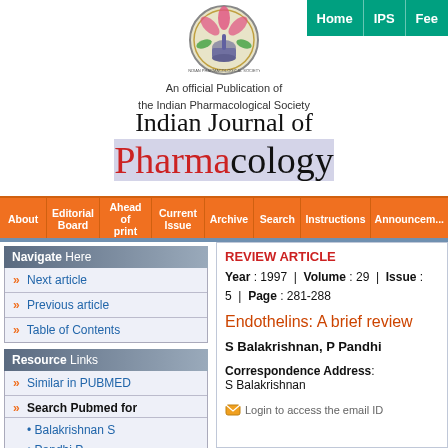Home | IPS | Fee
[Figure (logo): Indian Pharmacological Society circular logo with lotus flower and mortar/pestle emblem]
An official Publication of the Indian Pharmacological Society
Indian Journal of Pharmacology
About | Editorial Board | Ahead of print | Current Issue | Archive | Search | Instructions | Announcements
Navigate Here
Next article
Previous article
Table of Contents
Resource Links
Similar in PUBMED
Search Pubmed for
Balakrishnan S
Pandhi P
Search in Google Scholar for
REVIEW ARTICLE
Year : 1997 | Volume : 29 | Issue : 5 | Page : 281-288
Endothelins: A brief review
S Balakrishnan, P Pandhi
Correspondence Address:
S Balakrishnan
Login to access the email ID